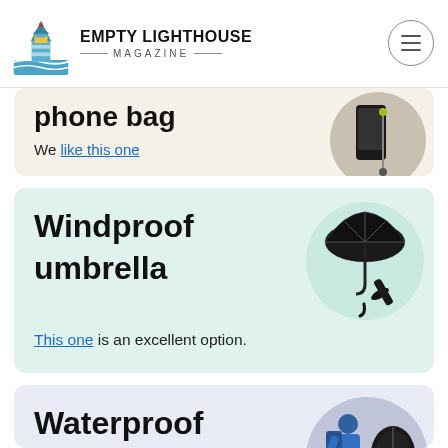EMPTY LIGHTHOUSE MAGAZINE
phone bag
We like this one
Windproof umbrella
This one is an excellent option.
Waterproof bag/luggage cover